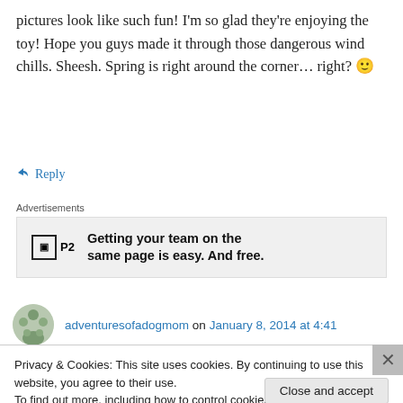pictures look like such fun! I'm so glad they're enjoying the toy! Hope you guys made it through those dangerous wind chills. Sheesh. Spring is right around the corner… right? 🙂
↳ Reply
Advertisements
[Figure (other): P2 advertisement: 'Getting your team on the same page is easy. And free.']
adventuresofadogmom on January 8, 2014 at 4:41
Privacy & Cookies: This site uses cookies. By continuing to use this website, you agree to their use.
To find out more, including how to control cookies, see here: Cookie Policy
Close and accept